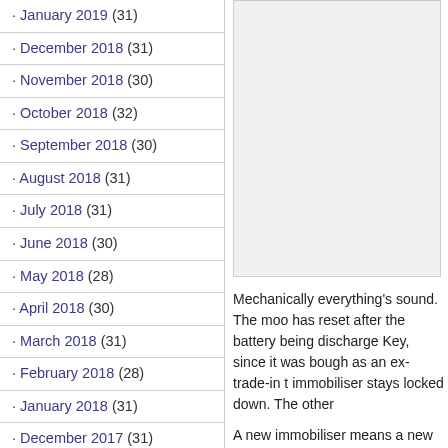· January 2019 (31)
· December 2018 (31)
· November 2018 (30)
· October 2018 (32)
· September 2018 (30)
· August 2018 (31)
· July 2018 (31)
· June 2018 (30)
· May 2018 (28)
· April 2018 (30)
· March 2018 (31)
· February 2018 (28)
· January 2018 (31)
· December 2017 (31)
· November 2017 (18)
· June 2017 (6)
· May 2017 (16)
· April 2017 (19)
[Figure (other): Blank/white image placeholder box on right side]
Mechanically everything's sound. The moo has reset after the battery being discharge Key, since it was bough as an ex-trade-in t immobiliser stays locked down. The other
A new immobiliser means a new set of key
As far as I can gather this situation is the b hand Vespa. It may be cheap, but getting i